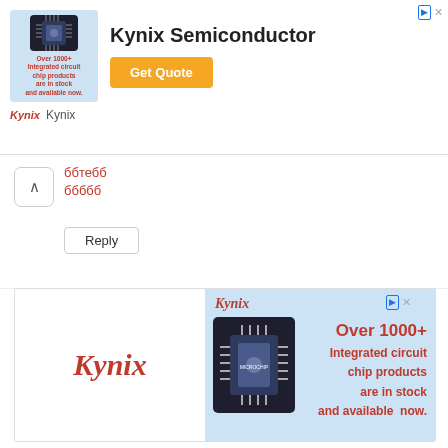[Figure (advertisement): Kynix Semiconductor advertisement banner with chip image, 'Get Quote' button, and Kynix branding]
ббтебб
бббbb
Reply
[Figure (advertisement): Large Kynix advertisement with logo on left, microchip image and 'Over 1000+ Integrated circuit chip products are in stock and available now.' on right]
Kynix Semiconductor
Our Sales Team Will Send Quotation to You by Email within 24 Hours